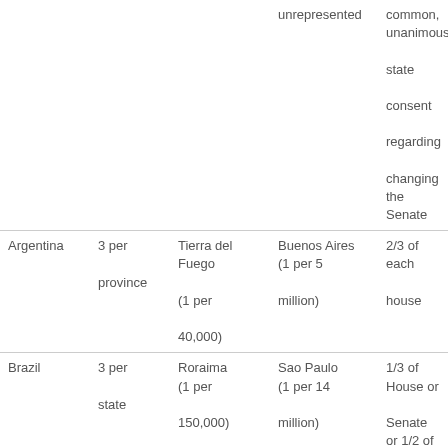|  |  |  | unrepresented | common, unanimous state consent regarding changing the Senate |
| Argentina | 3 per province | Tierra del Fuego (1 per 40,000) | Buenos Aires (1 per 5 million) | 2/3 of each house |
| Brazil | 3 per state | Roraima (1 per 150,000) | Sao Paulo (1 per 14 million) | 1/3 of House or Senate or 1/2 of states, then 3/5 of both houses |